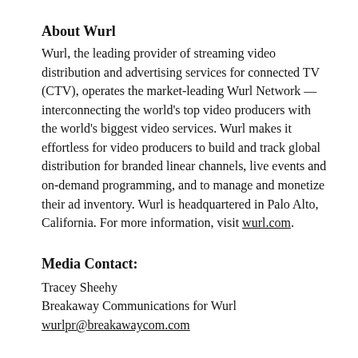About Wurl
Wurl, the leading provider of streaming video distribution and advertising services for connected TV (CTV), operates the market-leading Wurl Network — interconnecting the world's top video producers with the world's biggest video services. Wurl makes it effortless for video producers to build and track global distribution for branded linear channels, live events and on-demand programming, and to manage and monetize their ad inventory. Wurl is headquartered in Palo Alto, California. For more information, visit wurl.com.
Media Contact:
Tracey Sheehy
Breakaway Communications for Wurl
wurlpr@breakawaycom.com